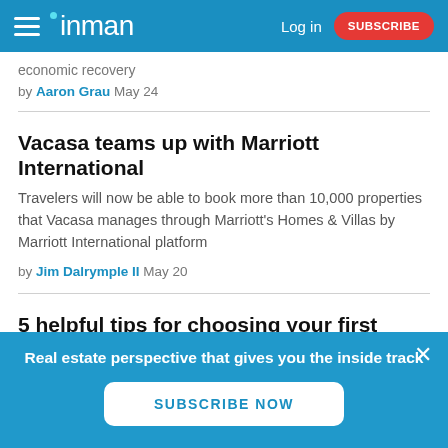inman | Log In | SUBSCRIBE
economic recovery
by Aaron Grau May 24
Vacasa teams up with Marriott International
Travelers will now be able to book more than 10,000 properties that Vacasa manages through Marriott's Homes & Villas by Marriott International platform
by Jim Dalrymple II May 20
5 helpful tips for choosing your first investment property
Real estate perspective that gives you the inside track
SUBSCRIBE NOW